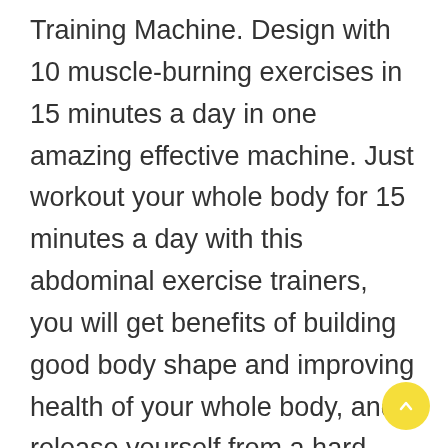Training Machine. Design with 10 muscle-burning exercises in 15 minutes a day in one amazing effective machine. Just workout your whole body for 15 minutes a day with this abdominal exercise trainers, you will get benefits of building good body shape and improving health of your whole body, and release yourself from a hard working day! Multi Functional Core & Abdominal Trainers. Designed for whole body muscle toning and muscle building, allow you to workout your whole body muscle groups, including your